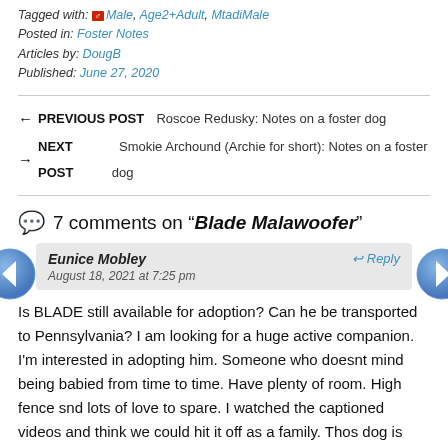Tagged with: Male, Age2+Adult, MtadiMale
Posted in: Foster Notes
Articles by: DougB
Published: June 27, 2020
← PREVIOUS POST   Roscoe Redusky: Notes on a foster dog
→ NEXT POST   Smokie Archound (Archie for short): Notes on a foster dog
7 comments on "Blade Malawoofer"
Eunice Mobley
August 18, 2021 at 7:25 pm
Reply
Is BLADE still available for adoption? Can he be transported to Pennsylvania? I am looking for a huge active companion. I'm interested in adopting him. Someone who doesnt mind being babied from time to time. Have plenty of room. High fence snd lots of love to spare. I watched the captioned videos and think we could hit it off as a family. Thos dog is absolutely adorable. Kindness and patience is a very big key to all animals. Please, please contact me to